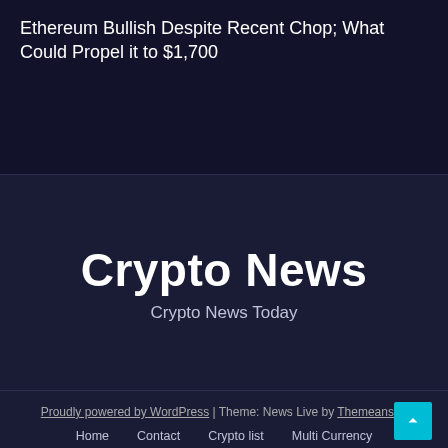Ethereum Bullish Despite Recent Chop; What Could Propel it to $1,700
[Figure (logo): Crypto News website logo with large bold white text 'Crypto News' and subtitle 'Crypto News Today' on dark navy background]
Proudly powered by WordPress | Theme: News Live by Themeansar.
Home   Contact   Crypto list   Multi Currency
Sample Page   Top 50 Crypto Coin Prices